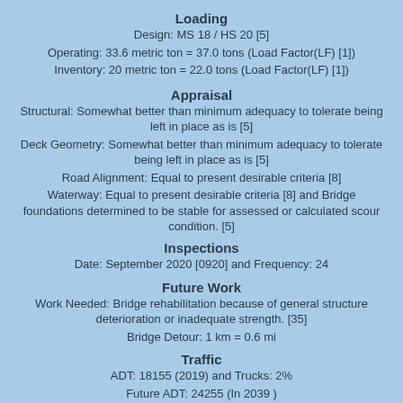Loading
Design: MS 18 / HS 20 [5]
Operating: 33.6 metric ton = 37.0 tons (Load Factor(LF) [1])
Inventory: 20 metric ton = 22.0 tons (Load Factor(LF) [1])
Appraisal
Structural: Somewhat better than minimum adequacy to tolerate being left in place as is [5]
Deck Geometry: Somewhat better than minimum adequacy to tolerate being left in place as is [5]
Road Alignment: Equal to present desirable criteria [8]
Waterway: Equal to present desirable criteria [8] and Bridge foundations determined to be stable for assessed or calculated scour condition. [5]
Inspections
Date: September 2020 [0920] and Frequency: 24
Future Work
Work Needed: Bridge rehabilitation because of general structure deterioration or inadequate strength. [35]
Bridge Detour: 1 km = 0.6 mi
Traffic
ADT: 18155 (2019) and Trucks: 2%
Future ADT: 24255 (In 2039 )